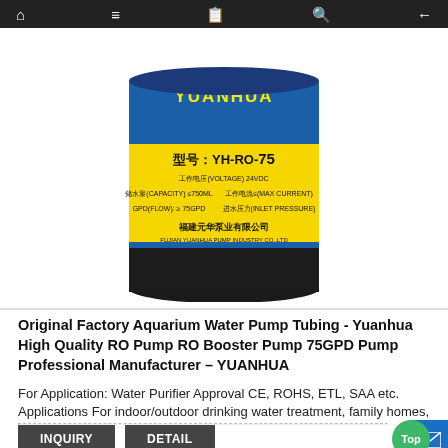Navigation bar with home, menu, book, search, and back icons
[Figure (photo): Photo of a cylindrical water pump (Yuanhua YH-RO-75) with blue and yellow label showing Chinese text and model number, black body]
Original Factory Aquarium Water Pump Tubing - Yuanhua High Quality RO Pump RO Booster Pump 75GPD Pump Professional Manufacturer – YUANHUA
For Application: Water Purifier Approval CE, ROHS, ETL, SAA etc. Applications For indoor/outdoor drinking water treatment, family homes, water purifier
INQUIRY   DETAIL